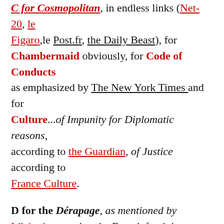C for Cosmopolitan, in endless links (Net-20, le Figaro, le Post.fr, the Daily Beast), for Chambermaid obviously, for Code of Conducts as emphasized by The New York Times and for Culture...of Impunity for Diplomatic reasons, according to the Guardian, of Justice according to France Culture.
D for the Dérapage, as mentioned by Libération quoting the French feminists manifesto against the way some political figures have tended to minimize the importance of the rape, to consider it as an ambiguous situation, which limits are blurred, more or less acceptable,